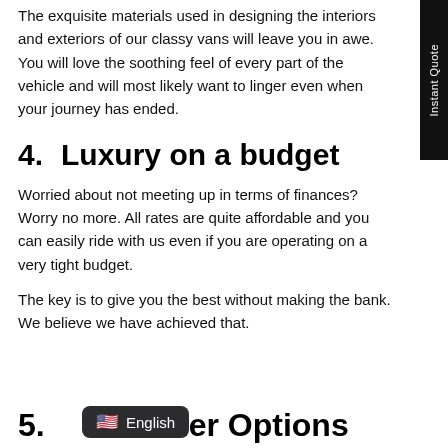The exquisite materials used in designing the interiors and exteriors of our classy vans will leave you in awe. You will love the soothing feel of every part of the vehicle and will most likely want to linger even when your journey has ended.
4.      Luxury on a budget
Worried about not meeting up in terms of finances? Worry no more. All rates are quite affordable and you can easily ride with us even if you are operating on a very tight budget.
The key is to give you the best without making the bank. We believe we have achieved that.
5.      [No other Options — partially visible]